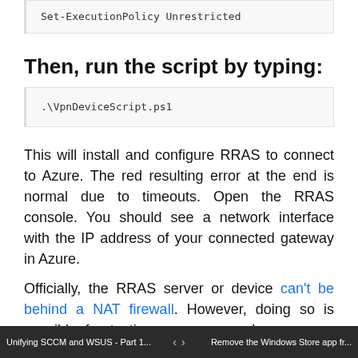Set-ExecutionPolicy Unrestricted
Then, run the script by typing:
.\VpnDeviceScript.ps1
This will install and configure RRAS to connect to Azure. The red resulting error at the end is normal due to timeouts. Open the RRAS console. You should see a network interface with the IP address of your connected gateway in Azure.
Officially, the RRAS server or device can't be behind a NAT firewall. However, doing so is possible for testing purposes as long as you forward the following ports to your device or RRAS server:
Unifying SCCM and WSUS - Part 1...    <    >    Remove the Windows Store app fr...